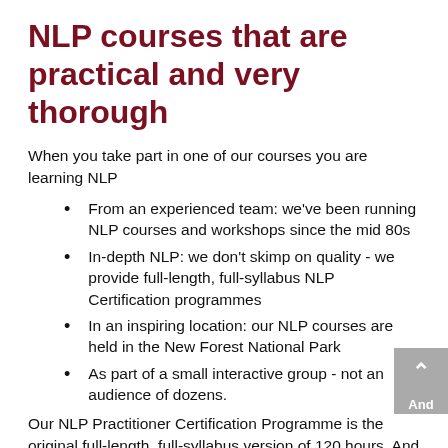NLP courses that are practical and very thorough
When you take part in one of our courses you are learning NLP
From an experienced team: we've been running NLP courses and workshops since the mid 80s
In-depth NLP: we don't skimp on quality - we provide full-length, full-syllabus NLP Certification programmes
In an inspiring location: our NLP courses are held in the New Forest National Park
As part of a small interactive group - not an audience of dozens.
Our NLP Practitioner Certification Programme is the original full-length, full-syllabus version of 120 hours. And to make it easy to fit it into your diary we run this in